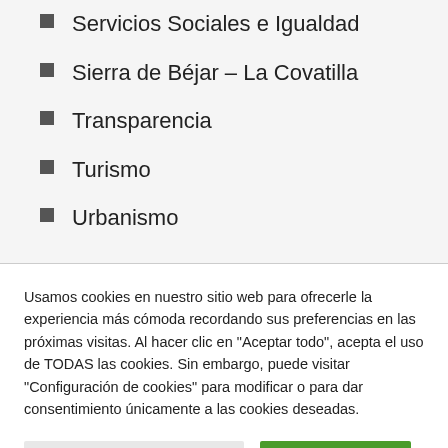Servicios Sociales e Igualdad
Sierra de Béjar – La Covatilla
Transparencia
Turismo
Urbanismo
Usamos cookies en nuestro sitio web para ofrecerle la experiencia más cómoda recordando sus preferencias en las próximas visitas. Al hacer clic en "Aceptar todo", acepta el uso de TODAS las cookies. Sin embargo, puede visitar "Configuración de cookies" para modificar o para dar consentimiento únicamente a las cookies deseadas.
Configuración de Cookies | Aceptar Todas